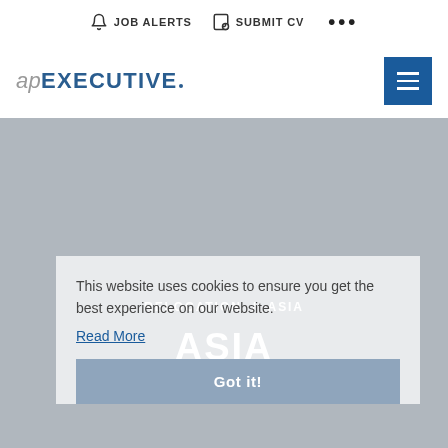JOB ALERTS   SUBMIT CV   •••
[Figure (logo): apEXECUTIVE logo with hamburger menu button]
[Figure (screenshot): Grey background main content area with cookie consent overlay showing 'RELOCATION / ASIA' breadcrumb and 'ASIA' heading]
This website uses cookies to ensure you get the best experience on our website.
Read More
Got it!